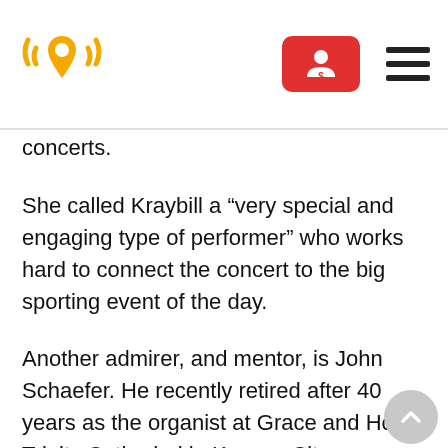[Logo: radio/location icon] [Red button with person icon] [Hamburger menu]
concerts.
She called Kraybill a “very special and engaging type of performer” who works hard to connect the concert to the big sporting event of the day.
Another admirer, and mentor, is John Schaefer. He recently retired after 40 years as the organist at Grace and Holy Trinity Cathedral in Kansas City, Missouri, and Kraybill has dedicated two pieces to him this year.
“She’s a fine, fine organist, pianist and person,”